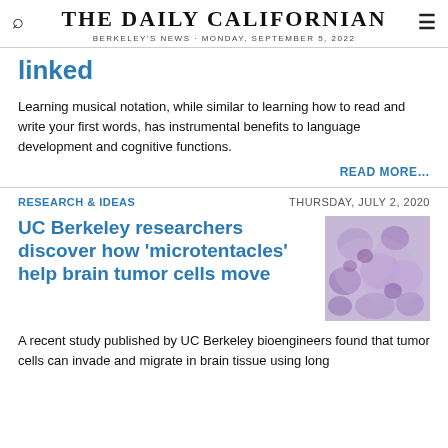THE DAILY CALIFORNIAN
BERKELEY'S NEWS · MONDAY, SEPTEMBER 5, 2022
linked
Learning musical notation, while similar to learning how to read and write your first words, has instrumental benefits to language development and cognitive functions.
READ MORE…
RESEARCH & IDEAS
THURSDAY, JULY 2, 2020
UC Berkeley researchers discover how 'microtentacles' help brain tumor cells move
[Figure (photo): Microscope image of brain tumor cells stained purple/violet showing cellular structure]
A recent study published by UC Berkeley bioengineers found that tumor cells can invade and migrate in brain tissue using long